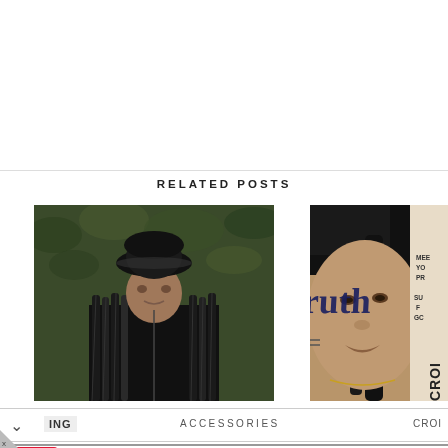RELATED POSTS
[Figure (photo): Woman wearing a black leather bucket hat with long black box braids, dressed in a black outfit, posing in front of green foliage background]
[Figure (photo): Magazine cover close-up of a woman with the word 'ruth' written across her face in gothic lettering, wearing a black head wrap, with partial magazine text visible: MEE YO PR SU GC]
ING
ACCESSORIES
CROI
[Figure (infographic): CVS Pharmacy advertisement: red CVS pharmacy logo box, text 'Visit A CVS® Near You', 'CVS' in blue, and blue navigation arrow icon on the right. Small triangle and X at bottom-left corner.]